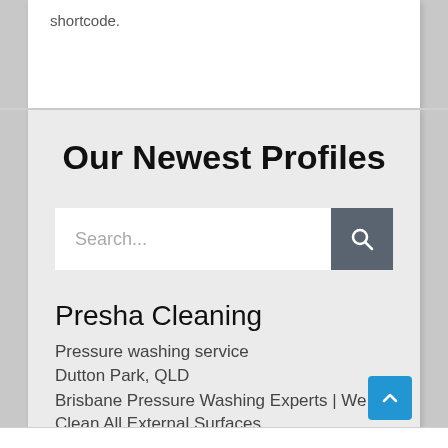shortcode.
Our Newest Profiles
[Figure (screenshot): Search bar with text input field and gray search button with magnifying glass icon]
Presha Cleaning
Pressure washing service
Dutton Park, QLD
Brisbane Pressure Washing Experts | We Clean All External Surfaces